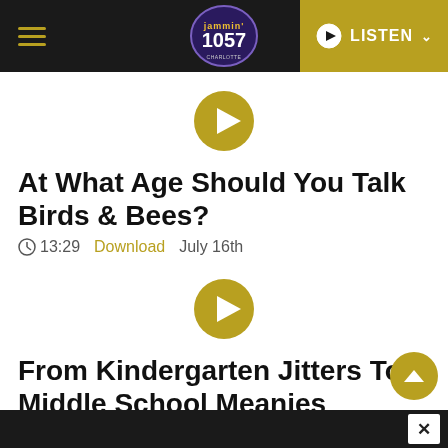Jammin 105.7 — LISTEN
[Figure (other): Gold play button circle for first podcast]
At What Age Should You Talk Birds & Bees?
13:29   Download   July 16th
[Figure (other): Gold play button circle for second podcast]
From Kindergarten Jitters To Middle School Meanies
13:06   Download   July 8th
X